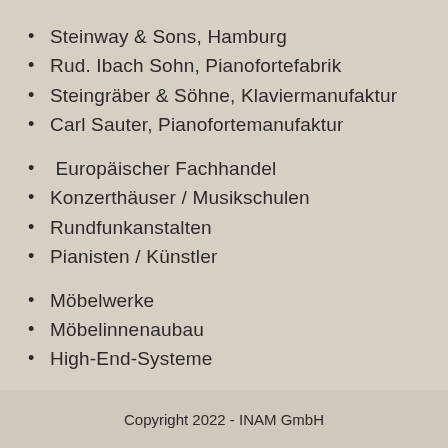Steinway & Sons, Hamburg
Rud. Ibach Sohn, Pianofortefabrik
Steingräber & Söhne, Klaviermanufaktur
Carl Sauter, Pianofortemanufaktur
Europäischer Fachhandel
Konzerthäuser / Musikschulen
Rundfunkanstalten
Pianisten / Künstler
Möbelwerke
Möbelinnenaubau
High-End-Systeme
Copyright 2022 - INAM GmbH